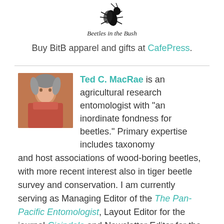[Figure (logo): Beetles in the Bush logo with stylized beetle illustration and cursive text]
Buy BitB apparel and gifts at CafePress.
Ted C. MacRae is an agricultural research entomologist with "an inordinate fondness for beetles." Primary expertise includes taxonomy and host associations of wood-boring beetles, with more recent interest also in tiger beetle survey and conservation. I am currently serving as Managing Editor of the The Pan-Pacific Entomologist, Layout Editor for the journal Cicindela and Newsletter Editor for the Webster Groves Nature Study Society. Visit me also at these other sites: